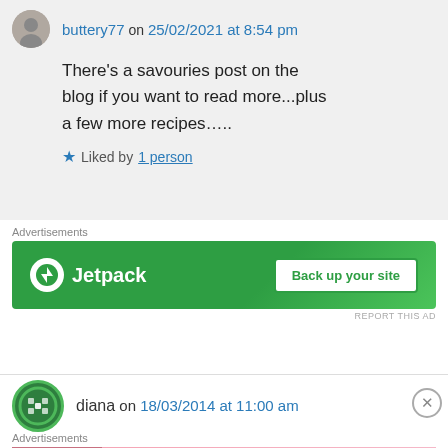buttery77 on 25/02/2021 at 8:54 pm
There's a savouries post on the blog if you want to read more...plus a few more recipes…..
★ Liked by 1 person
Advertisements
[Figure (screenshot): Jetpack advertisement banner: green background with Jetpack logo and 'Back up your site' button]
diana on 18/03/2014 at 11:00 am
Advertisements
[Figure (screenshot): Victoria's Secret advertisement: pink background with model photo, 'SHOP THE COLLECTION' text, and 'SHOP NOW' button]